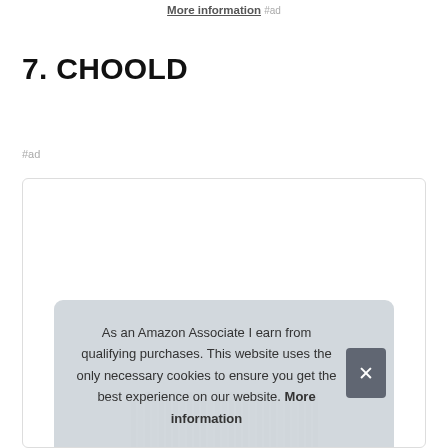More information #ad
7. CHOOLD
#ad
[Figure (photo): Product listing box with striped product image visible at the bottom, partially obscured by a cookie consent banner]
As an Amazon Associate I earn from qualifying purchases. This website uses the only necessary cookies to ensure you get the best experience on our website. More information